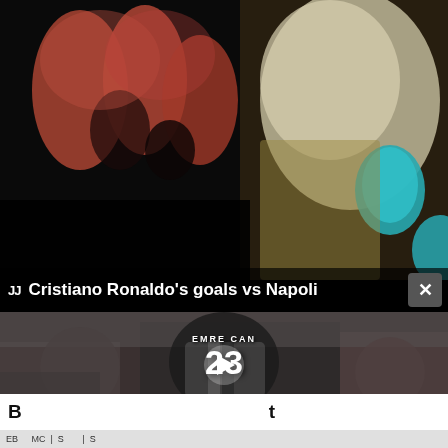[Figure (photo): Blurry close-up photo of fingers touching a decorative fabric with teal/turquoise accents and metallic details, dark background]
[Figure (screenshot): Video overlay panel showing Cristiano Ronaldo's goals vs Napoli title with Juventus logo and close button, thumbnail shows player with jersey number 23 EMRE CAN with play button]
B...t
EB...MC | S... | S...